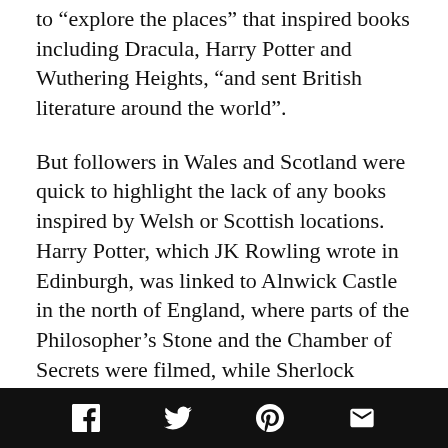to “explore the places” that inspired books including Dracula, Harry Potter and Wuthering Heights, “and sent British literature around the world”.
But followers in Wales and Scotland were quick to highlight the lack of any books inspired by Welsh or Scottish locations. Harry Potter, which JK Rowling wrote in Edinburgh, was linked to Alnwick Castle in the north of England, where parts of the Philosopher’s Stone and the Chamber of Secrets were filmed, while Sherlock Holmes, by Scottish author Arthur Conan Doyle, was linked to London.”
Whoopsie
[social share icons: Facebook, Twitter, Pinterest, Email]